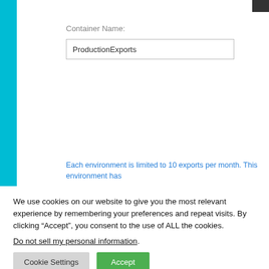[Figure (screenshot): UI dialog showing a 'Container Name' label with an input field containing the text 'ProductionExports', and a blue informational note at the bottom reading 'Each environment is limited to 10 exports per month. This environment has']
We use cookies on our website to give you the most relevant experience by remembering your preferences and repeat visits. By clicking “Accept”, you consent to the use of ALL the cookies.
Do not sell my personal information.
Cookie Settings   Accept